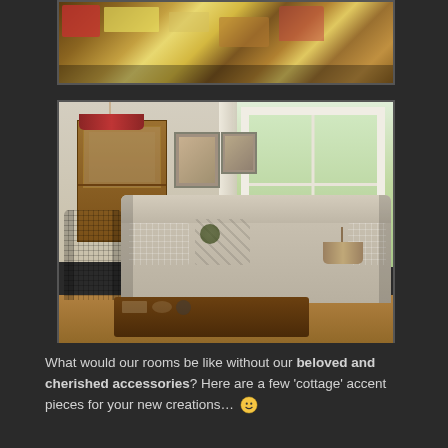[Figure (photo): Top photo showing a cluttered table with vintage items, colorful objects including what appears to be yellow and red cottage-style decorative pieces and books.]
[Figure (photo): Interior photo of a cozy cottage-style living room featuring a neutral linen sofa with red gingham and floral cushions, a plaid armchair, wooden cabinet with glass doors, a table lamp, large bay window with white curtains and garden view, wooden coffee table with decorative items.]
What would our rooms be like without our beloved and cherished accessories? Here are a few 'cottage' accent pieces for your new creations… 🙂